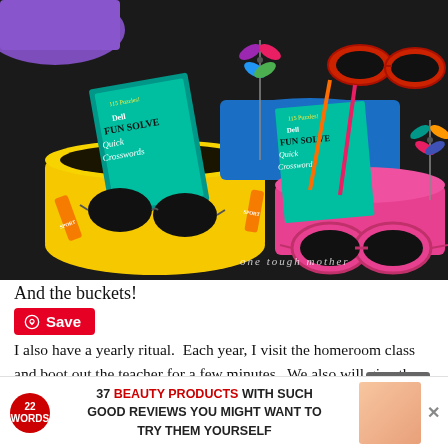[Figure (photo): Photo of colorful summer gift buckets (yellow, blue, pink) filled with sunglasses, sunscreen, Dell Fun Solve Quick Crosswords puzzle books, pinwheels, and other items. Watermark reads 'one tough mother' in bottom right.]
And the buckets!
Save
I also have a yearly ritual.  Each year, I visit the homeroom class and boot out the teacher for a few minutes.  We also will give the prizes...have all the kids...out...the
37 BEAUTY PRODUCTS WITH SUCH GOOD REVIEWS YOU MIGHT WANT TO TRY THEM YOURSELF
CLOSE